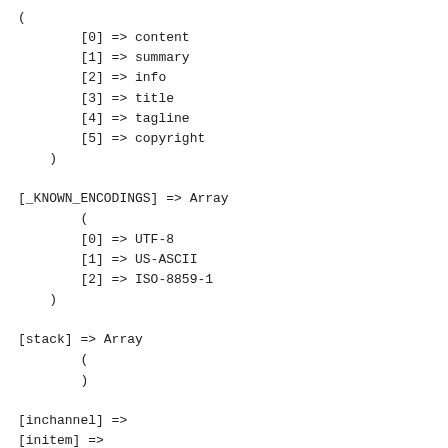(
            [0] => content
            [1] => summary
            [2] => info
            [3] => title
            [4] => tagline
            [5] => copyright
        )

    [_KNOWN_ENCODINGS] => Array
        (
            [0] => UTF-8
            [1] => US-ASCII
            [2] => ISO-8859-1
        )

    [stack] => Array
        (
        )

    [inchannel] =>
    [initem] =>
    [incontent] =>
    [intextinput] =>
    [inimage] =>
    [current_namespace] =>
    [last_modified] => Fri, 2 Sep 2022 01:31:22 GMT

)